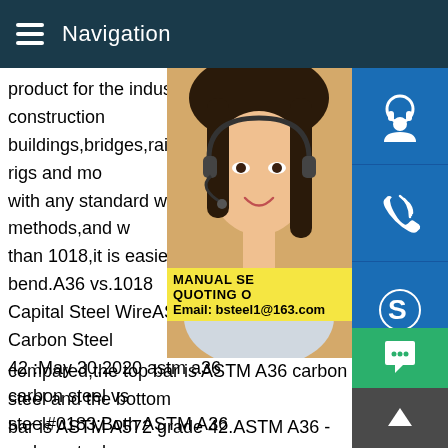Navigation
product for the industrial and construction buildings,bridges,railroads,oil rigs and more with any standard welding methods,and w than 1018,it is easier to bend.A36 vs.1018 Capital Steel WireASTM A36 Carbon Steel 42 :May 30,2020 astm a36 carbon steel vs steel#0183;Both ASTM A36 carbon steel are iron alloys.Both are furnished in the as treatment) condition.They have a very high alloy composition in common.For each property compared,the top bar is ASTM A36 carbon steel and the bottom bar is ASTM A572 grade 42.ASTM A36 - SSAB high-strength steelASTM A36 ASTM A131 ASTM A283 ASTM A514 ASTM A ASTM A573 ASTM A633 ASTM A656 ASTM A709 ASTM A945 ASTM A1011 ASTM A1018 American Bureau of Shipping API Pipe Steels API Offshore Structural Steel Grades CSA G40.21
[Figure (photo): Woman with headset customer service representative]
[Figure (infographic): Three blue icon buttons: headset/support, phone, and Skype icons on blue background]
MANUAL SE... QUOTING O... Email: bsteel1@163.com
[Figure (infographic): Green chat button and dark up-arrow scroll button]